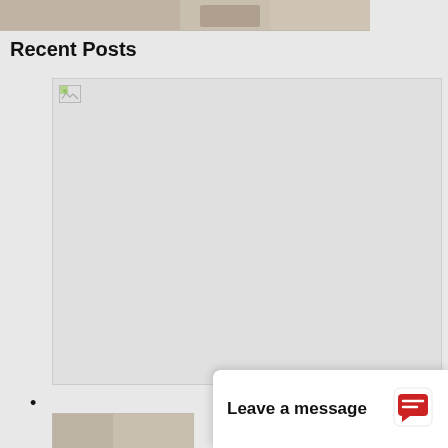[Figure (photo): Top portion of a room interior photo, cropped, showing furniture in warm tones]
Recent Posts
[Figure (photo): A broken/unloaded image placeholder for a recent post thumbnail — large white/gray area with broken image icon in top left]
•
[Figure (photo): Bottom partial image strip, another recent post thumbnail, partially visible]
Leave a message